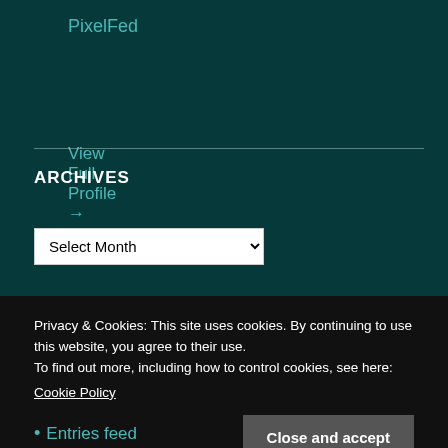PixelFed
View Full Profile →
ARCHIVES
Select Month (dropdown)
Privacy & Cookies: This site uses cookies. By continuing to use this website, you agree to their use.
To find out more, including how to control cookies, see here:
Cookie Policy
Entries feed